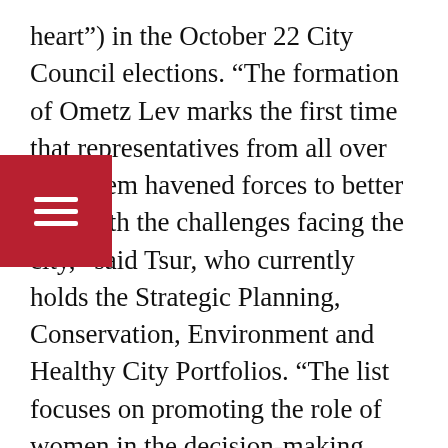heart") in the October 22 City Council elections. “The formation of Ometz Lev marks the first time that representatives from all over Jerusalem have joined forces to better deal with the challenges facing the city,” said Tsur, who currently holds the Strategic Planning, Conservation, Environment and Healthy City Portfolios. “The list focuses on promoting the role of women in the decision-making process, as well as working toward a more equitable, healthier, cleaner and more accessible city,” she continued. According to Tsur, Ometz Lev has already succeeded in attracting a prominent cross-section of female leaders from Jerusalem, including from the Ethiopian community, immigrants from